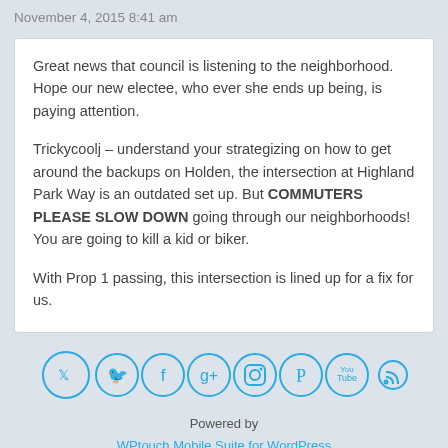November 4, 2015 8:41 am
Great news that council is listening to the neighborhood. Hope our new electee, who ever she ends up being, is paying attention.
Trickycoolj – understand your strategizing on how to get around the backups on Holden, the intersection at Highland Park Way is an outdated set up. But COMMUTERS PLEASE SLOW DOWN going through our neighborhoods! You are going to kill a kid or biker.
With Prop 1 passing, this intersection is lined up for a fix for us.
[Figure (other): Row of 7 social media icons (Twitter, Facebook, Google+, Instagram, Pinterest, YouTube, RSS) in circular blue outlines]
Powered by
WPtouch Mobile Suite for WordPress
[Figure (other): Mobile/Desktop toggle bar with Mobile selected in blue and Desktop in gray]